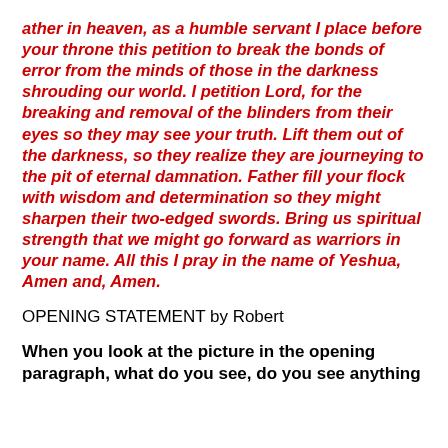ather in heaven, as a humble servant I place before your throne this petition to break the bonds of error from the minds of those in the darkness shrouding our world. I petition Lord, for the breaking and removal of the blinders from their eyes so they may see your truth. Lift them out of the darkness, so they realize they are journeying to the pit of eternal damnation. Father fill your flock with wisdom and determination so they might sharpen their two-edged swords. Bring us spiritual strength that we might go forward as warriors in your name. All this I pray in the name of Yeshua, Amen and, Amen.
OPENING STATEMENT by Robert
When you look at the picture in the opening paragraph, what do you see, do you see anything